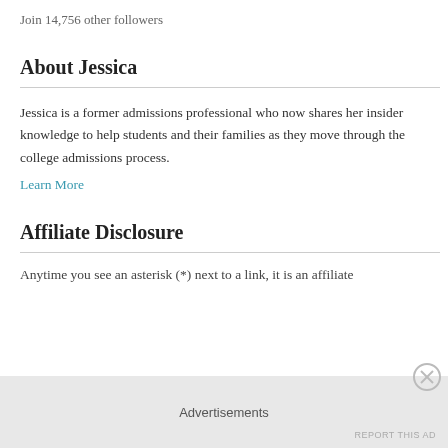Join 14,756 other followers
About Jessica
Jessica is a former admissions professional who now shares her insider knowledge to help students and their families as they move through the college admissions process.
Learn More
Affiliate Disclosure
Anytime you see an asterisk (*) next to a link, it is an affiliate...
Advertisements